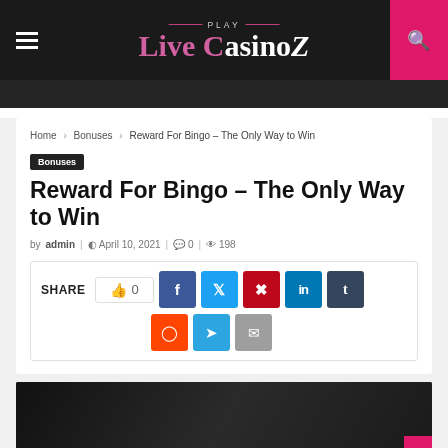Play Live CasinoZ
Home > Bonuses > Reward For Bingo – The Only Way to Win
Bonuses
Reward For Bingo – The Only Way to Win
by admin  April 10, 2021  0  198
[Figure (other): Social share buttons: like count 0, Facebook, Twitter, Pinterest, LinkedIn, Tumblr, Reddit, Telegram, Email]
[Figure (photo): Dark background photo, partial view at bottom of page]